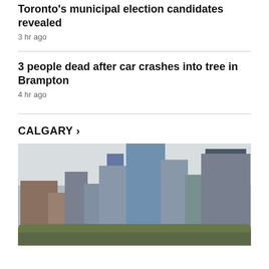Toronto's municipal election candidates revealed
3 hr ago
3 people dead after car crashes into tree in Brampton
4 hr ago
CALGARY ›
[Figure (photo): Calgary skyline with modern high-rise condo and office towers along the waterfront, overcast sky]